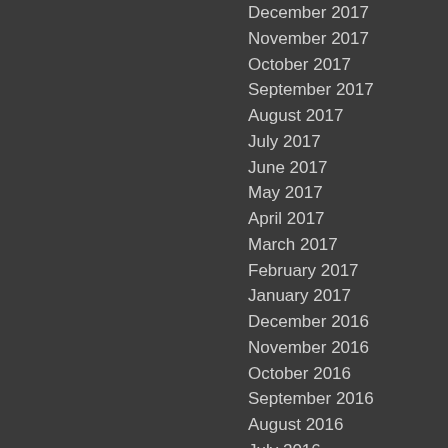December 2017
November 2017
October 2017
September 2017
August 2017
July 2017
June 2017
May 2017
April 2017
March 2017
February 2017
January 2017
December 2016
November 2016
October 2016
September 2016
August 2016
July 2016
June 2016
May 2016
April 2016
March 2016